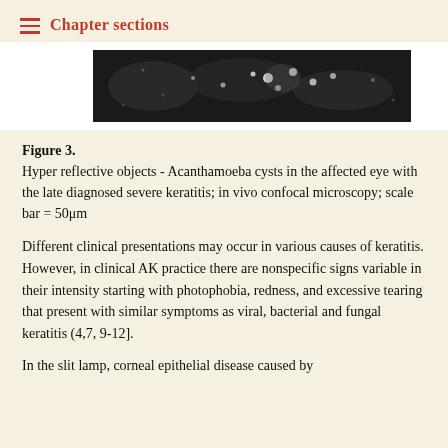Chapter sections
[Figure (photo): Grayscale confocal microscopy image showing hyper reflective objects (Acanthamoeba cysts) in the affected eye with late diagnosed severe keratitis.]
Figure 3. Hyper reflective objects - Acanthamoeba cysts in the affected eye with the late diagnosed severe keratitis; in vivo confocal microscopy; scale bar = 50μm
Different clinical presentations may occur in various causes of keratitis. However, in clinical AK practice there are nonspecific signs variable in their intensity starting with photophobia, redness, and excessive tearing that present with similar symptoms as viral, bacterial and fungal keratitis (4,7, 9-12].
In the slit lamp, corneal epithelial disease caused by